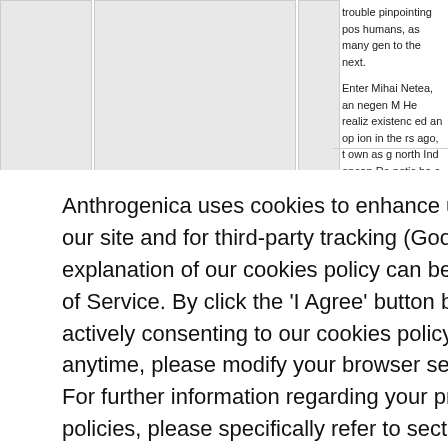[Figure (screenshot): Partially visible webpage content with image placeholders at top and right column text]
trouble pinpointing pos humans, as many gen to the next.
Enter Mihai Netea, an negen M He realiz existenc ed an op ion in the rs ago, t own as g north Ind opean Ro netic ba e, both c ditions, i reach no ought ge eeking s nanians
Anthrogenica uses cookies to enhance user functionality on our site and for third-party tracking (Google Analytics). A full explanation of our cookies policy can be found in our Terms of Service. By click the 'I Agree' button below, you are actively consenting to our cookies policy. To rescind consent anytime, please modify your browser settings accordingly. For further information regarding your privacy and our policies, please specifically refer to sections 1.6, 5.5-5.8 and 6.9.
I agree
Hidden Content